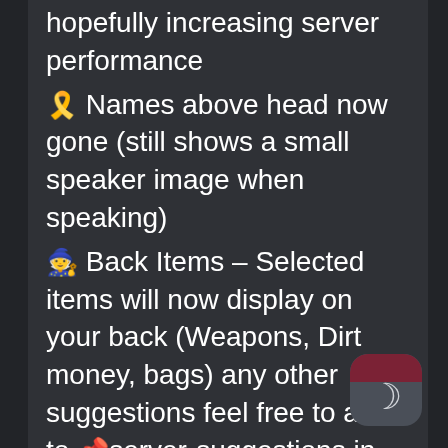hopefully increasing server performance
🎗️ Names above head now gone (still shows a small speaker image when speaking)
🧙 Back Items – Selected items will now display on your back (Weapons, Dirt money, bags) any other suggestions feel free to add to 📌server-suggestions in discord
🔑 CarKey fob – press 0 to activate can be bound to any